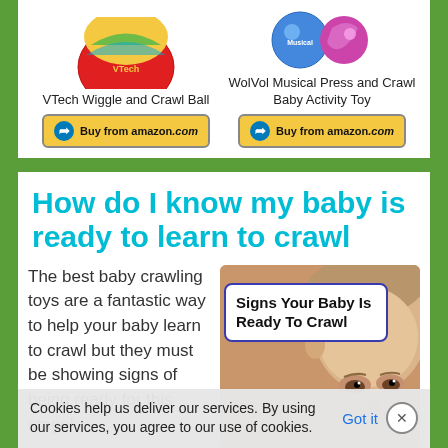[Figure (photo): VTech Wiggle and Crawl Ball product image (top, partially cropped)]
VTech Wiggle and Crawl Ball
[Figure (illustration): Buy from amazon.com button for VTech Wiggle and Crawl Ball]
[Figure (photo): WolVol Musical Press and Crawl Baby Activity Toy product image (top, partially cropped)]
WolVol Musical Press and Crawl Baby Activity Toy
[Figure (illustration): Buy from amazon.com button for WolVol Musical Press and Crawl Baby Activity Toy]
How do I know my baby is ready to learn to crawl
The best baby crawling toys are a fantastic way to help your baby learn to crawl but they must be showing signs of being ready for this stage!
[Figure (photo): Baby face close-up photo with overlaid text box reading 'Signs Your Baby Is Ready To Crawl']
Cookies help us deliver our services. By using our services, you agree to our use of cookies.
Got it